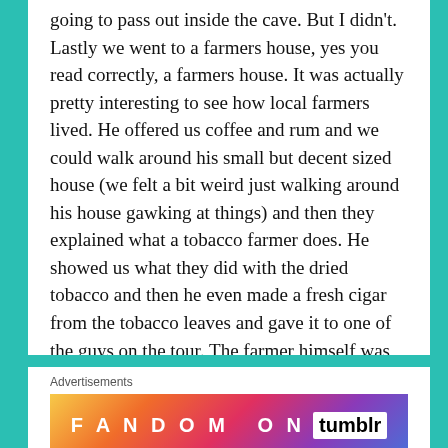going to pass out inside the cave. But I didn't. Lastly we went to a farmers house, yes you read correctly, a farmers house. It was actually pretty interesting to see how local farmers lived. He offered us coffee and rum and we could walk around his small but decent sized house (we felt a bit weird just walking around his house gawking at things) and then they explained what a tobacco farmer does. He showed us what they did with the dried tobacco and then he even made a fresh cigar from the tobacco leaves and gave it to one of the guys on the tour. The farmer himself was good fun and seem to speak about 4 different languages. It's worthwhile to note that tobacco farmers in Cuba have to give 90% of their earnings to the government. This farmer said he gives 90% to the government but keeps 20% for himself 😉
Advertisements
[Figure (infographic): Advertisement banner for Fandom on Tumblr with colorful gradient background showing text 'FANDOM ON tumblr']